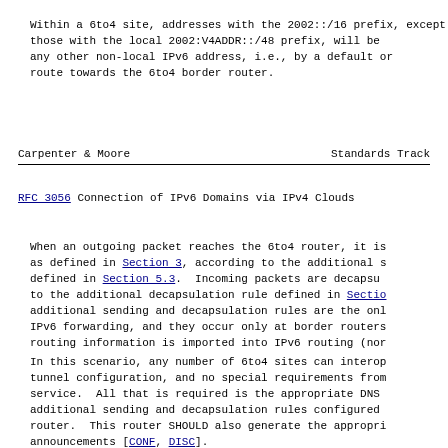Within a 6to4 site, addresses with the 2002::/16 prefix, except those with the local 2002:V4ADDR::/48 prefix, will be treated as any other non-local IPv6 address, i.e., by a default or specific route towards the 6to4 border router.
Carpenter & Moore                    Standards Track
RFC 3056        Connection of IPv6 Domains via IPv4 Clouds
When an outgoing packet reaches the 6to4 router, it is encapsulated as defined in Section 3, according to the additional sending rules defined in Section 5.3.  Incoming packets are decapsulated according to the additional decapsulation rule defined in Section 5.3.  These additional sending and decapsulation rules are the only impact on IPv6 forwarding, and they occur only at border routers, where no IPv4 routing information is imported into IPv6 routing (nor vice versa).
In this scenario, any number of 6to4 sites can interoperate without tunnel configuration, and no special requirements from the IPv4 service.  All that is required is the appropriate DNS setup, the additional sending and decapsulation rules configured in the border router.  This router SHOULD also generate the appropriate BGP announcements [CONF, DISC].